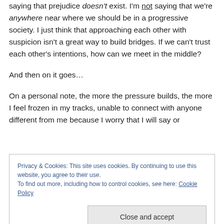saying that prejudice doesn't exist. I'm not saying that we're anywhere near where we should be in a progressive society. I just think that approaching each other with suspicion isn't a great way to build bridges. If we can't trust each other's intentions, how can we meet in the middle?
And then on it goes…
On a personal note, the more the pressure builds, the more I feel frozen in my tracks, unable to connect with anyone different from me because I worry that I will say or
Privacy & Cookies: This site uses cookies. By continuing to use this website, you agree to their use.
To find out more, including how to control cookies, see here: Cookie Policy